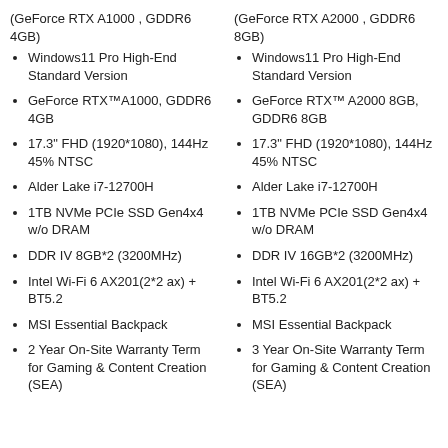(GeForce RTX A1000 , GDDR6 4GB)
(GeForce RTX A2000 , GDDR6 8GB)
Windows11 Pro High-End Standard Version
Windows11 Pro High-End Standard Version
GeForce RTX™A1000, GDDR6 4GB
GeForce RTX™ A2000 8GB, GDDR6 8GB
17.3" FHD (1920*1080), 144Hz 45% NTSC
17.3" FHD (1920*1080), 144Hz 45% NTSC
Alder Lake i7-12700H
Alder Lake i7-12700H
1TB NVMe PCIe SSD Gen4x4 w/o DRAM
1TB NVMe PCIe SSD Gen4x4 w/o DRAM
DDR IV 8GB*2 (3200MHz)
DDR IV 16GB*2 (3200MHz)
Intel Wi-Fi 6 AX201(2*2 ax) + BT5.2
Intel Wi-Fi 6 AX201(2*2 ax) + BT5.2
MSI Essential Backpack
MSI Essential Backpack
2 Year On-Site Warranty Term for Gaming & Content Creation (SEA)
3 Year On-Site Warranty Term for Gaming & Content Creation (SEA)